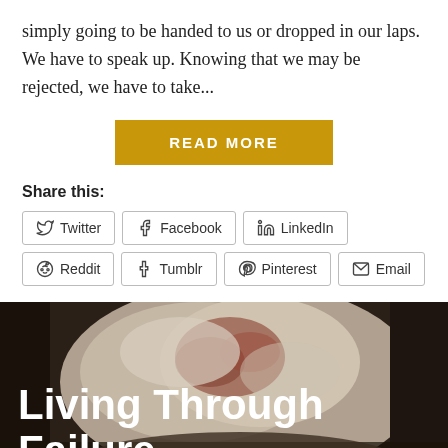simply going to be handed to us or dropped in our laps.  We have to speak up.  Knowing that we may be rejected, we have to take...
READ MORE
Share this:
Twitter  Facebook  LinkedIn  Reddit  Tumblr  Pinterest  Email
[Figure (photo): Rock or stone surface with reddish-brown markings, dark background, with overlaid bold white text reading 'Living Through Failure']
Living Through Failure